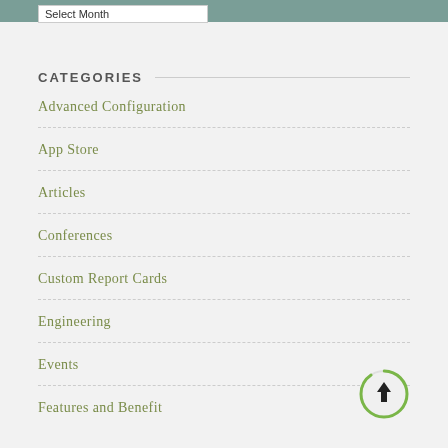CATEGORIES
Advanced Configuration
App Store
Articles
Conferences
Custom Report Cards
Engineering
Events
Features and Benefits (partial)